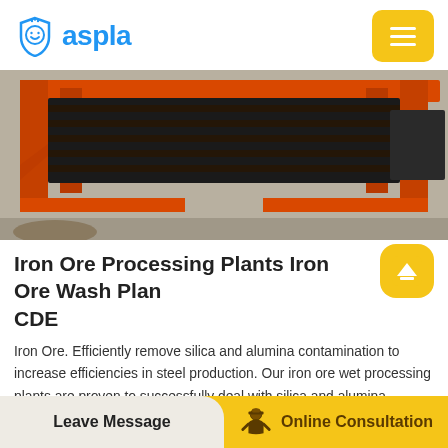aspla
[Figure (photo): Orange industrial iron ore processing/screening machine on a concrete floor in a warehouse setting]
Iron Ore Processing Plants Iron Ore Wash Plants CDE
Iron Ore. Efficiently remove silica and alumina contamination to increase efficiencies in steel production. Our iron ore wet processing plants are proven to successfully deal with silica and alumina contamination in the iron ore, resulting in an increase in the Fe value of the iron ore thereby increasing the efficiency of the steel…
Leave Message   Online Consultation